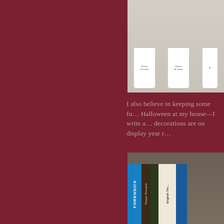[Figure (photo): Photo of white mugs/cups on a shelf, appears to be Barnes & Noble branded mugs]
I also believe in keeping some fu… Halloween at my house—I write a… decorations are on display year r…
[Figure (photo): Photo of bookshelf with books including one titled FORENSICS and another titled English Thr… books are on a wooden shelf]